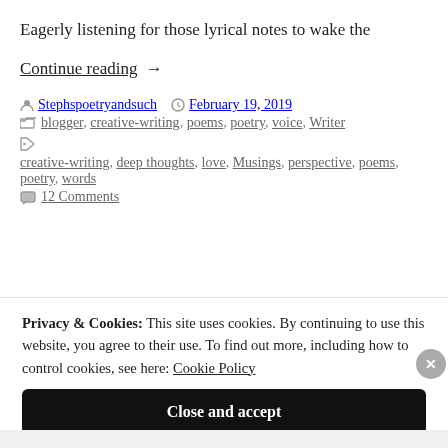Eagerly listening for those lyrical notes to wake the
Continue reading →
Stephspoetryandsuch   February 19, 2019
blogger, creative-writing, poems, poetry, voice, Writer
creative-writing, deep thoughts, love, Musings, perspective, poems, poetry, words
12 Comments
Privacy & Cookies: This site uses cookies. By continuing to use this website, you agree to their use. To find out more, including how to control cookies, see here: Cookie Policy
Close and accept